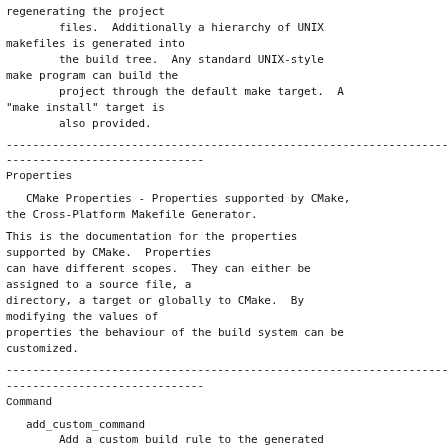regenerating the project
        files.  Additionally a hierarchy of UNIX makefiles is generated into
        the build tree.  Any standard UNIX-style make program can build the
        project through the default make target.  A "make install" target is
        also provided.
------------------------------------------------------------------------
------------------------------
Properties
CMake Properties - Properties supported by CMake, the Cross-Platform Makefile Generator.
This is the documentation for the properties supported by CMake.  Properties
can have different scopes.  They can either be assigned to a source file, a
directory, a target or globally to CMake.  By modifying the values of
properties the behaviour of the build system can be customized.
------------------------------------------------------------------------
------------------------------
Command
add_custom_command
        Add a custom build rule to the generated build system.